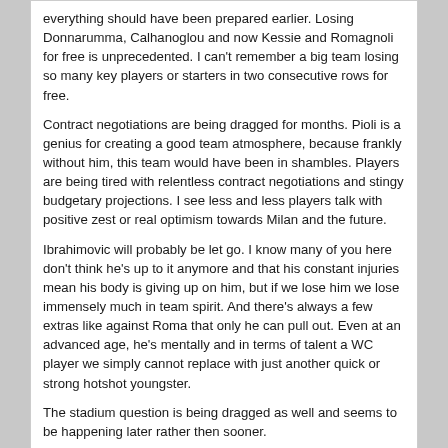everything should have been prepared earlier. Losing Donnarumma, Calhanoglou and now Kessie and Romagnoli for free is unprecedented. I can't remember a big team losing so many key players or starters in two consecutive rows for free.
Contract negotiations are being dragged for months. Pioli is a genius for creating a good team atmosphere, because frankly without him, this team would have been in shambles. Players are being tired with relentless contract negotiations and stingy budgetary projections. I see less and less players talk with positive zest or real optimism towards Milan and the future.
Ibrahimovic will probably be let go. I know many of you here don't think he's up to it anymore and that his constant injuries mean his body is giving up on him, but if we lose him we lose immensely much in team spirit. And there's always a few extras like against Roma that only he can pull out. Even at an advanced age, he's mentally and in terms of talent a WC player we simply cannot replace with just another quick or strong hotshot youngster.
The stadium question is being dragged as well and seems to be happening later rather then sooner.
All this makes me think we're heading in the wrong direction.
Rossoneri7
Jan 31 2022, 08:32 PM
Pippo, Zlatan is more than a player for Milan. He is a reference point, a leader and a player/coach 2 since his arrival Milan was